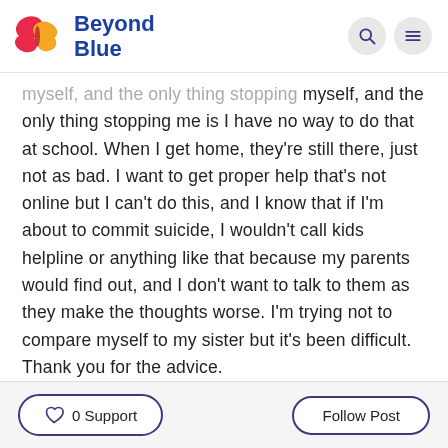Beyond Blue
myself, and the only thing stopping me is I have no way to do that at school. When I get home, they're still there, just not as bad. I want to get proper help that's not online but I can't do this, and I know that if I'm about to commit suicide, I wouldn't call kids helpline or anything like that because my parents would find out, and I don't want to talk to them as they make the thoughts worse. I'm trying not to compare myself to my sister but it's been difficult. Thank you for the advice.
0 Support
Follow Post